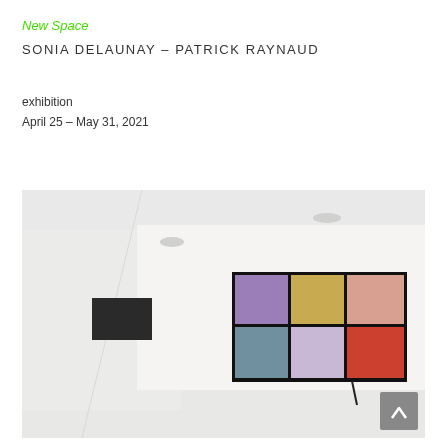New Space
SONIA DELAUNAY – PATRICK RAYNAUD
exhibition
April 25 – May 31, 2021
[Figure (photo): Gallery interior showing white walls. On the right wall hangs a grid of 6 colored panels (2 rows × 3 columns) in shades of purple, yellow/gold, pink, blue-grey, lavender, and red-orange, mounted with black frames. On the left wall hangs a small dark/black rectangular panel. The floor is white and the space is brightly lit.]